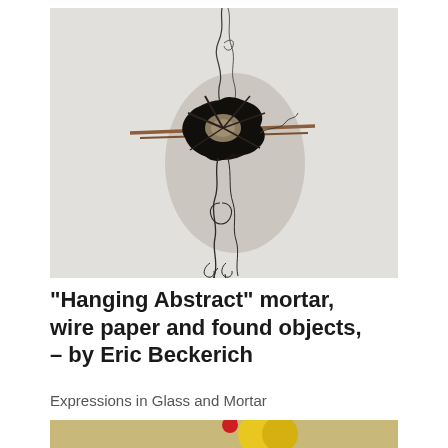[Figure (photo): Photograph of a hanging abstract sculpture made from mortar, wire, paper and found objects by Eric Beckerich. The sculpture features a dark central mass with radiating stick-like elements and wire hanging down, displayed against a white wall.]
“Hanging Abstract” mortar, wire paper and found objects, – by Eric Beckerich
Expressions in Glass and Mortar
[Figure (photo): Partial view of another artwork at the bottom of the page, showing yellow and red elements against a light background.]